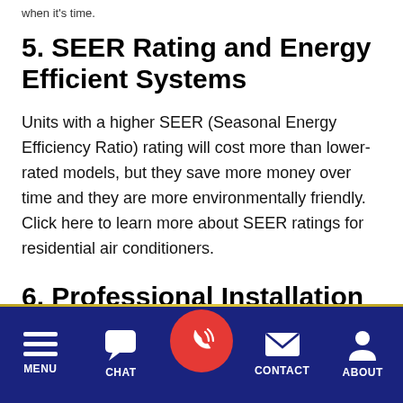when it's time.
5. SEER Rating and Energy Efficient Systems
Units with a higher SEER (Seasonal Energy Efficiency Ratio) rating will cost more than lower-rated models, but they save more money over time and they are more environmentally friendly. Click here to learn more about SEER ratings for residential air conditioners.
6. Professional Installation
Some people try to install their AC system
MENU  CHAT  [CALL]  CONTACT  ABOUT